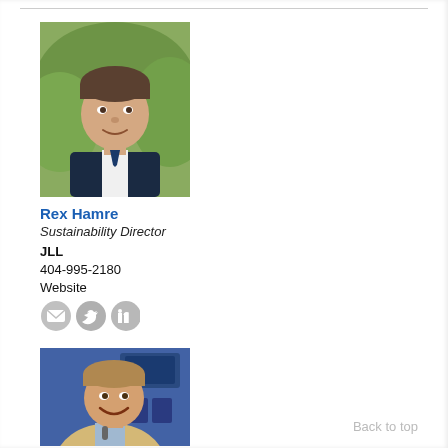[Figure (photo): Headshot of a young man with short brown hair wearing a dark suit jacket and white collared shirt, smiling, with green foliage in background]
Rex Hamre
Sustainability Director
JLL
404-995-2180
Website
[Figure (other): Social media icons: email envelope, Twitter bird, LinkedIn logo — grey circular icons]
[Figure (photo): Photo of a middle-aged man with light brown hair, smiling broadly, wearing a beige blazer, with a blurred blue background suggesting a TV studio setting]
Back to top